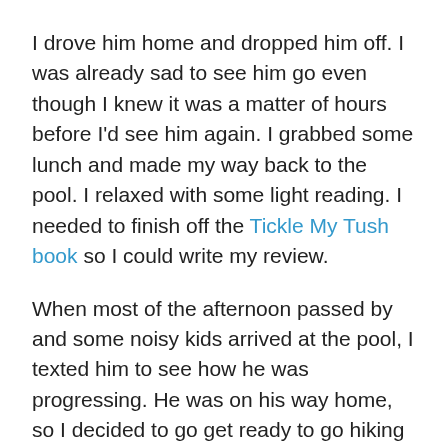I drove him home and dropped him off. I was already sad to see him go even though I knew it was a matter of hours before I'd see him again. I grabbed some lunch and made my way back to the pool. I relaxed with some light reading. I needed to finish off the Tickle My Tush book so I could write my review.
When most of the afternoon passed by and some noisy kids arrived at the pool, I texted him to see how he was progressing. He was on his way home, so I decided to go get ready to go hiking and make my way over to his place.
I pick him up, and we take a short drive to the base of the mountain. I grab my camera and we make our way up the trail. When we get to a decent height, he suggests we climb back down part way and hit up another trail that had